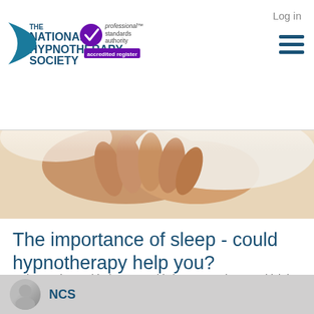Log in
[Figure (logo): The National Hypnotherapy Society logo with crescent moon mark, alongside Professional Standards Authority accredited register badge]
[Figure (photo): Close-up photo of hands resting on white bed linen, suggesting sleep]
The importance of sleep - could hypnotherapy help you?
Today marks World Sleep Day, this is an annual event which is intended to be a celebration of sleep and a call to action on issues related to sleep. We realise there can be many reasons for not ge...
NCS